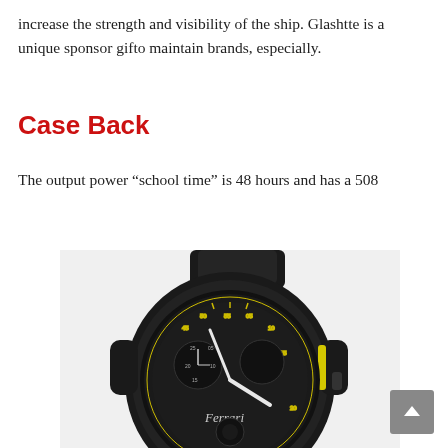increase the strength and visibility of the ship. Glashtte is a unique sponsor gifto maintain brands, especially.
Case Back
The output power “school time” is 48 hours and has a 508
[Figure (photo): A luxury Ferrari-branded watch with a black case and rubber strap, showing a complex dial with yellow accents and Ferrari branding visible on the face.]